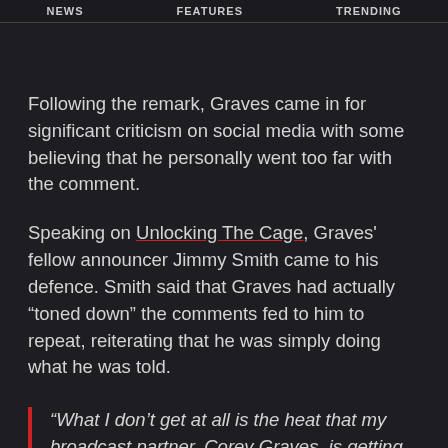NEWS   FEATURES   TRENDING
Following the remark, Graves came in for significant criticism on social media with some believing that he personally went too far with the comment.
Speaking on Unlocking The Cage, Graves' fellow announcer Jimmy Smith came to his defence. Smith said that Graves had actually “toned down” the comments fed to him to repeat, reiterating that he was simply doing what he was told.
“What I don’t get at all is the heat that my broadcast partner, Corey Graves, is getting. They